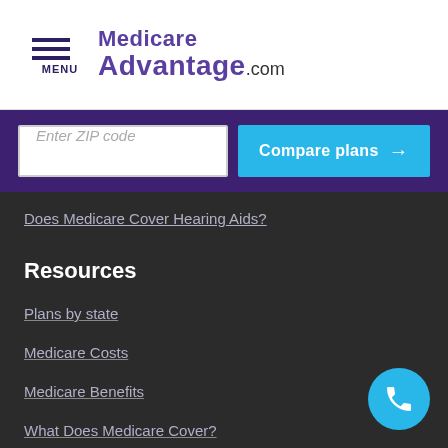[Figure (logo): Medicare Advantage.com logo with hamburger menu icon and MENU label]
[Figure (screenshot): Enter ZIP code input field and Compare plans button on purple background]
Does Medicare Cover Hearing Aids?
Resources
Plans by state
Medicare Costs
Medicare Benefits
What Does Medicare Cover?
Medicare Enrollment Guide
[Figure (illustration): Cyan circular phone call button in bottom right corner]